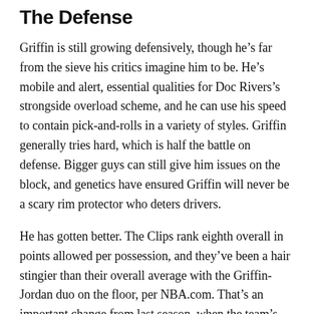The Defense
Griffin is still growing defensively, though he's far from the sieve his critics imagine him to be. He's mobile and alert, essential qualities for Doc Rivers's strongside overload scheme, and he can use his speed to contain pick-and-rolls in a variety of styles. Griffin generally tries hard, which is half the battle on defense. Bigger guys can still give him issues on the block, and genetics have ensured Griffin will never be a scary rim protector who deters drivers.
He has gotten better. The Clips rank eighth overall in points allowed per possession, and they've been a hair stingier than their overall average with the Griffin-Jordan duo on the floor, per NBA.com. That's an important change from last season, when the team's bench propped up starter-heavy units that couldn't defend well enough.